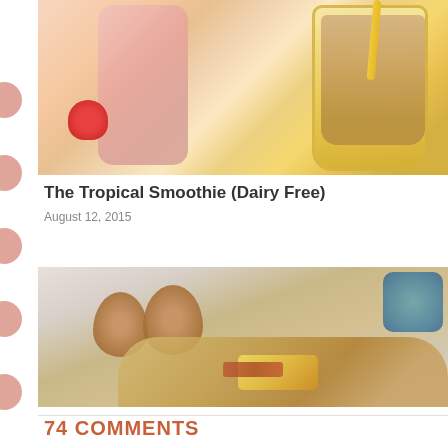[Figure (photo): Tropical smoothie in a yellow polka-dot glass with a straw, alongside a pink jar and a strawberry]
The Tropical Smoothie (Dairy Free)
August 12, 2015
[Figure (photo): Breakfast scene with two brown eggs, a bread roll filled with egg and bacon, and a teal polka-dot mug in background]
74 COMMENTS